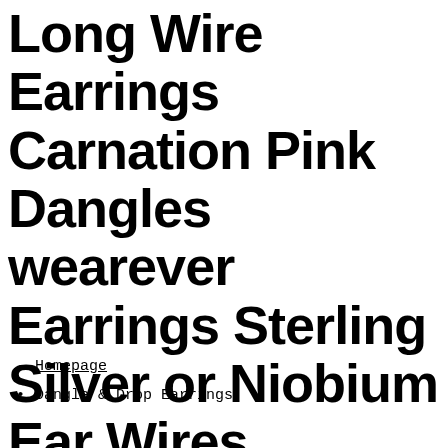Long Wire Earrings Carnation Pink Dangles wearever Earrings Sterling Silver or Niobium Ear Wires Lampwork Glass Drop Jewelry
Homepage
Dangle & Drop Earrings